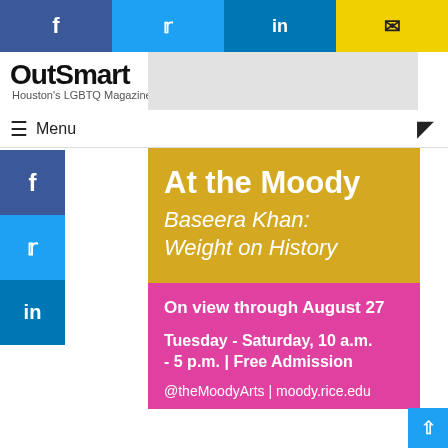[Figure (screenshot): Top social sharing bar with Facebook (blue), Twitter (cyan), LinkedIn (blue), and email (yellow) buttons]
OutSmart — Houston's LGBTQ Magazine
≡ Menu
[Figure (screenshot): Left social sidebar with Facebook, Twitter, LinkedIn icons]
At the Moody
Baseera Khan: Weight on History
On view through August 27
Tuesday - Saturday, 10 a.m. - 5 p.m. | Free Admission
@theMoodyArts | moody.rice.edu